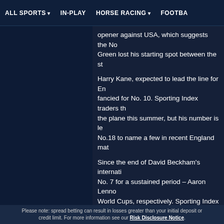ALL SPORTS  IN-PLAY  HORSE RACING  FOOTBA
opener against USA, which suggests the No... Green lost his starting spot between the st...
Harry Kane, expected to lead the line for En... fancied for No. 10. Sporting Index traders th... the plane this summer, but his number is le... No.18 to name a few in recent England mat...
Since the end of David Beckham's internati... No. 7 for a sustained period – Aaron Lenno... World Cups, respectively. Sporting Index ha... likely candidate to wear this squad number... June.
Ed Fulton, trading spokesman for Sporting I... the squad numbers for this Friday's friendl... want a final look at a few fringe players so... No.10.
"However, come the first match in Russia a... Many of the one to eleven numbers could l... will be interesting to see.
"Goalkeepers can usually take being given... traders think Pickford is the likeliest to be g... given any number from one and anything d...
Please note: spread betting can result in losses greater than your initial deposit or credit limit. For more information see our Risk Disclosure Notice.